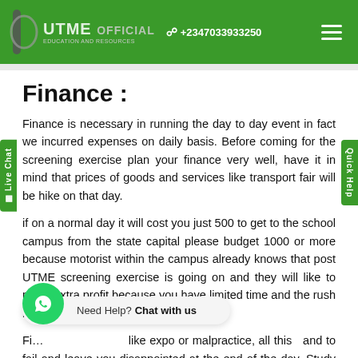UTME OFFICIAL +2347033933250
Finance :
Finance is necessary in running the day to day event in fact we incurred expenses on daily basis. Before coming for the screening exercise plan your finance very well, have it in mind that prices of goods and services like transport fair will be hike on that day.
if on a normal day it will cost you just 500 to get to the school campus from the state capital please budget 1000 or more because motorist within the campus already knows that post UTME screening exercise is going on and they will like to make extra profit because you have limited time and the rush is like mad.
Fi... like expo or malpractice, all this tend to fail and leave you disappointed at the end of the day. Study your books very well and do proper research. Put God fi...